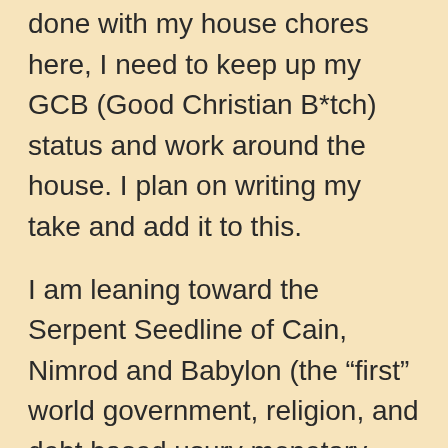done with my house chores here, I need to keep up my GCB (Good Christian B*tch) status and work around the house. I plan on writing my take and add it to this.
I am leaning toward the Serpent Seedline of Cain, Nimrod and Babylon (the “first” world government, religion, and debt based usury monetary system), from there to the Talmudic Jews bringing that system with them when they left captivity. To where the devil offered Jesus the kingdoms of the world if he would just worship him. Where Jesus said “NO” to the devil,